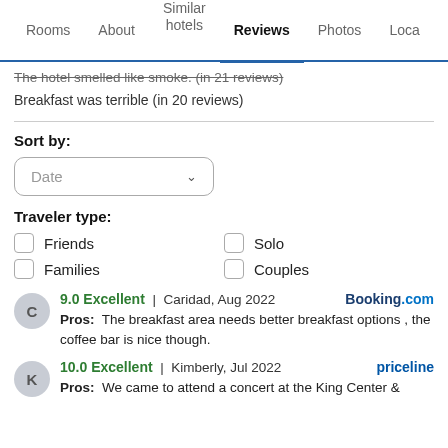Rooms | About | Similar hotels | Reviews | Photos | Loca...
The hotel smelled like smoke. (in 21 reviews)
Breakfast was terrible (in 20 reviews)
Sort by:
Date
Traveler type:
Friends
Solo
Families
Couples
9.0 Excellent | Caridad, Aug 2022   Booking.com
Pros: The breakfast area needs better breakfast options , the coffee bar is nice though.
10.0 Excellent | Kimberly, Jul 2022   priceline
Pros: We came to attend a concert at the King Center &